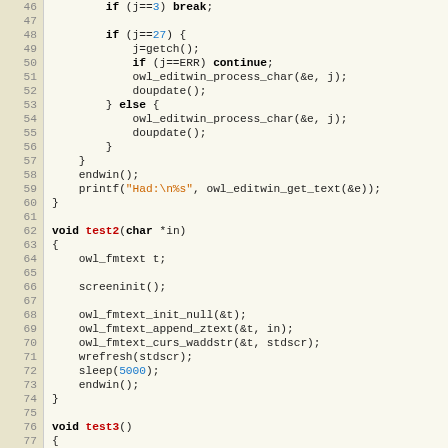[Figure (screenshot): Source code listing in a monospace code editor view, showing C code lines 46–78 with line numbers in a tan/beige gutter and code on a light yellow background. Contains functions test2 and test3 with owl_fmtext and owl_editwin library calls.]